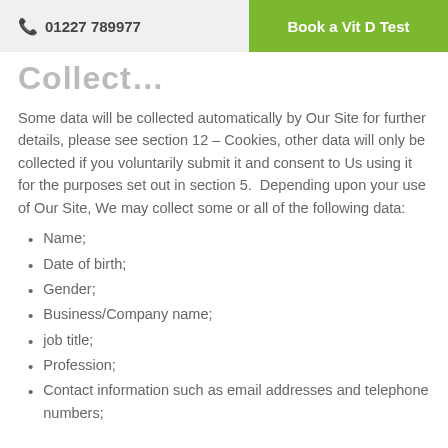01227 789977   Book a Vit D Test
Collect…
Some data will be collected automatically by Our Site for further details, please see section 12 – Cookies, other data will only be collected if you voluntarily submit it and consent to Us using it for the purposes set out in section 5.  Depending upon your use of Our Site, We may collect some or all of the following data:
Name;
Date of birth;
Gender;
Business/Company name;
job title;
Profession;
Contact information such as email addresses and telephone numbers;